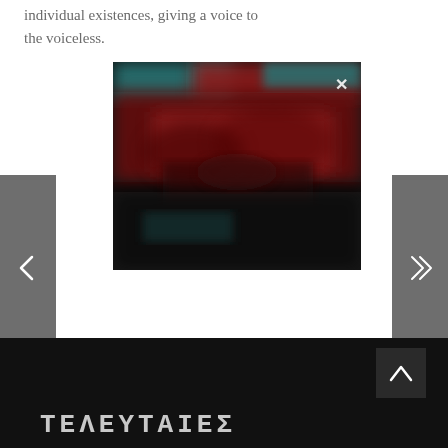individual existences, giving a voice to the voiceless.
[Figure (photo): A dark, blurry photograph with red and teal/cyan colors visible, resembling a nighttime or dimly-lit scene. A white X close button appears in the upper right corner of the image.]
[Figure (other): Left navigation arrow button (chevron left) on a gray background panel on the left side.]
[Figure (other): Right navigation arrow button (double chevron right) on a gray background panel on the right side.]
[Figure (other): Up arrow (caret/chevron up) button in dark square in footer area.]
ΤΕΛΕΥΤΑΙΕΣ